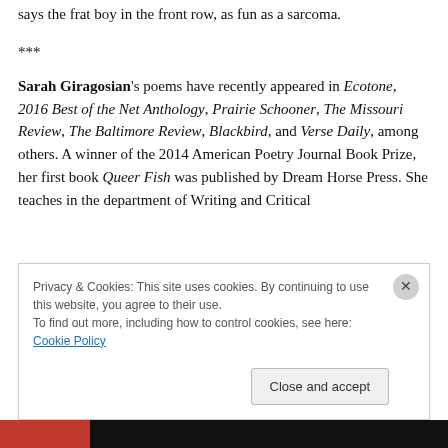says the frat boy in the front row, as fun as a sarcoma.
***
Sarah Giragosian's poems have recently appeared in Ecotone, 2016 Best of the Net Anthology, Prairie Schooner, The Missouri Review, The Baltimore Review, Blackbird, and Verse Daily, among others. A winner of the 2014 American Poetry Journal Book Prize, her first book Queer Fish was published by Dream Horse Press. She teaches in the department of Writing and Critical...
Privacy & Cookies: This site uses cookies. By continuing to use this website, you agree to their use.
To find out more, including how to control cookies, see here: Cookie Policy
Close and accept